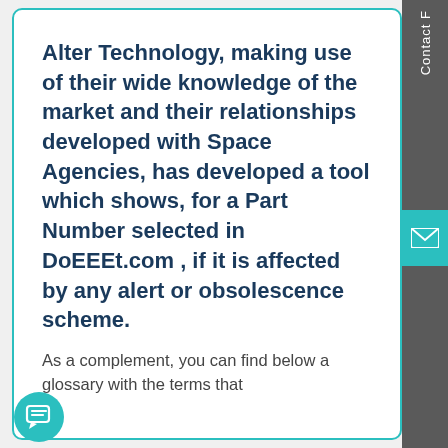Alter Technology, making use of their wide knowledge of the market and their relationships developed with Space Agencies, has developed a tool which shows, for a Part Number selected in DoEEEt.com , if it is affected by any alert or obsolescence scheme.
As a complement, you can find below a glossary with the terms that